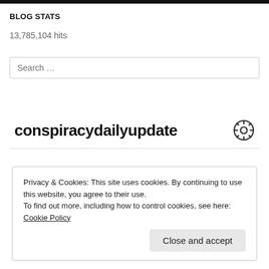BLOG STATS
13,785,104 hits
Search ...
conspiracydailyupdate
Privacy & Cookies: This site uses cookies. By continuing to use this website, you agree to their use.
To find out more, including how to control cookies, see here: Cookie Policy
Close and accept